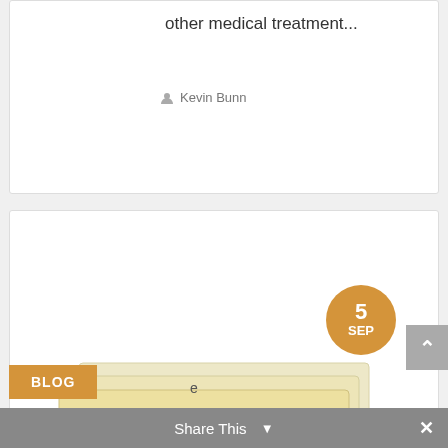other medical treatment...
Kevin Bunn
[Figure (illustration): Stack of manila/cream colored folders or papers with a red rubber stamp reading CONFIDENTIAL diagonally across the front. An amber/gold circular date badge in the upper right reads '5 SEP'.]
BLOG
Share This ∨  ×